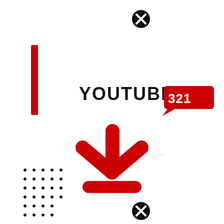[Figure (logo): YouTube 321 logo with red rectangle badge containing '321' text, decorative red vertical bar on left, black circle X icons at top and bottom center, a large red download arrow icon in the center-lower area, and a dot matrix pattern in the lower left corner]